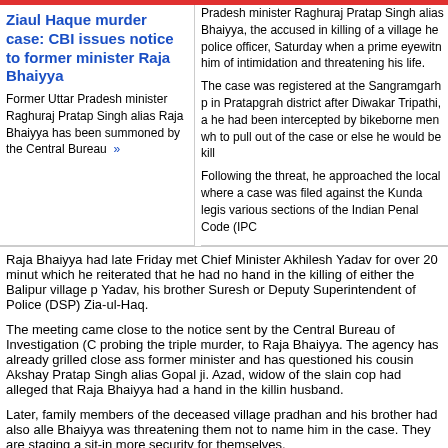Ziaul Haque murder case: CBI issues notice to former minister Raja Bhaiyya
Former Uttar Pradesh minister Raghuraj Pratap Singh alias Raja Bhaiyya has been summoned by the Central Bureau »
Pradesh minister Raghuraj Pratap Singh alias Bhaiyya, the accused in killing of a village he police officer, Saturday when a prime eyewitness him of intimidation and threatening his life.
The case was registered at the Sangramgarh p in Pratapgrah district after Diwakar Tripathi, a he had been intercepted by bikeborne men wh to pull out of the case or else he would be kill
Following the threat, he approached the local where a case was filed against the Kunda legis various sections of the Indian Penal Code (IPC
Raja Bhaiyya had late Friday met Chief Minister Akhilesh Yadav for over 20 minut which he reiterated that he had no hand in the killing of either the Balipur village p Yadav, his brother Suresh or Deputy Superintendent of Police (DSP) Zia-ul-Haq.
The meeting came close to the notice sent by the Central Bureau of Investigation (C probing the triple murder, to Raja Bhaiyya. The agency has already grilled close ass former minister and has questioned his cousin Akshay Pratap Singh alias Gopal ji. Azad, widow of the slain cop had alleged that Raja Bhaiyya had a hand in the killin husband.
Later, family members of the deceased village pradhan and his brother had also alle Bhaiyya was threatening them not to name him in the case. They are staging a sit-i more security for themselves.
Raja Bhaiyya set to available for...